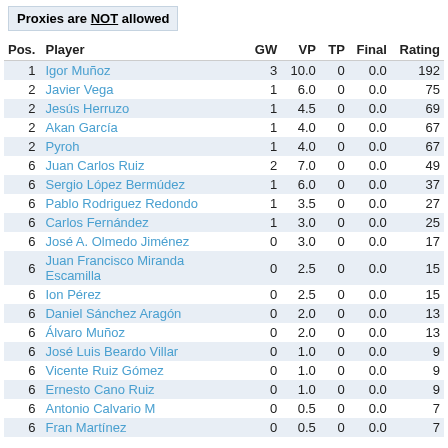Proxies are NOT allowed
| Pos. | Player | GW | VP | TP | Final | Rating |
| --- | --- | --- | --- | --- | --- | --- |
| 1 | Igor Muñoz | 3 | 10.0 | 0 | 0.0 | 192 |
| 2 | Javier Vega | 1 | 6.0 | 0 | 0.0 | 75 |
| 2 | Jesús Herruzo | 1 | 4.5 | 0 | 0.0 | 69 |
| 2 | Akan García | 1 | 4.0 | 0 | 0.0 | 67 |
| 2 | Pyroh | 1 | 4.0 | 0 | 0.0 | 67 |
| 6 | Juan Carlos Ruiz | 2 | 7.0 | 0 | 0.0 | 49 |
| 6 | Sergio López Bermúdez | 1 | 6.0 | 0 | 0.0 | 37 |
| 6 | Pablo Rodriguez Redondo | 1 | 3.5 | 0 | 0.0 | 27 |
| 6 | Carlos Fernández | 1 | 3.0 | 0 | 0.0 | 25 |
| 6 | José A. Olmedo Jiménez | 0 | 3.0 | 0 | 0.0 | 17 |
| 6 | Juan Francisco Miranda Escamilla | 0 | 2.5 | 0 | 0.0 | 15 |
| 6 | Ion Pérez | 0 | 2.5 | 0 | 0.0 | 15 |
| 6 | Daniel Sánchez Aragón | 0 | 2.0 | 0 | 0.0 | 13 |
| 6 | Álvaro Muñoz | 0 | 2.0 | 0 | 0.0 | 13 |
| 6 | José Luis Beardo Villar | 0 | 1.0 | 0 | 0.0 | 9 |
| 6 | Vicente Ruiz Gómez | 0 | 1.0 | 0 | 0.0 | 9 |
| 6 | Ernesto Cano Ruiz | 0 | 1.0 | 0 | 0.0 | 9 |
| 6 | Antonio Calvario M | 0 | 0.5 | 0 | 0.0 | 7 |
| 6 | Fran Martínez | 0 | 0.5 | 0 | 0.0 | 7 |